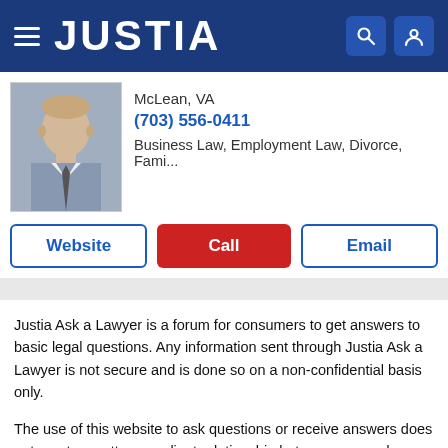JUSTIA
McLean, VA
(703) 556-0411
Business Law, Employment Law, Divorce, Fami...
Website | Call | Email
Justia Ask a Lawyer is a forum for consumers to get answers to basic legal questions. Any information sent through Justia Ask a Lawyer is not secure and is done so on a non-confidential basis only.
The use of this website to ask questions or receive answers does not create an attorney–client relationship between you and Justia, or between you and any attorney who receives your information or responds to your questions, nor is it intended to create such a relationship. Additionally, no responses on this forum constitute legal advice, which must be tailored to the specific circumstances of each case. You should not act...